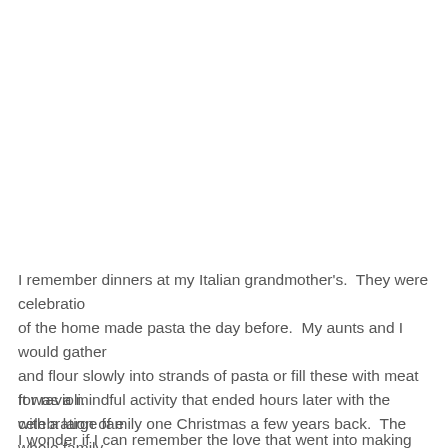I remember dinners at my Italian grandmother's.  They were celebrations of the home made pasta the day before.  My aunts and I would gather and flour slowly into strands of pasta or fill these with meat for ravioli. with a large family one Christmas a few years back.  The whole family attention to the detail of this and the love that went into each piece of m
It was a mindful activity that ended hours later with the celebration of e
I wonder if I can remember the love that went into making breakfast th